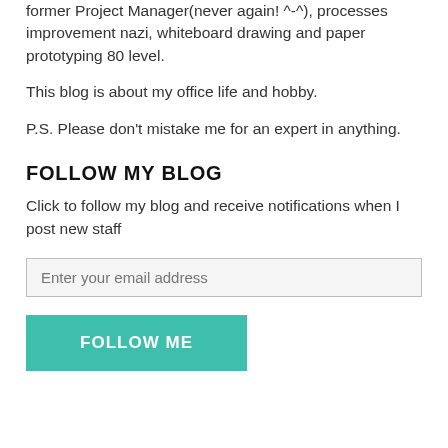former Project Manager(never again! ^-^), processes improvement nazi, whiteboard drawing and paper prototyping 80 level.
This blog is about my office life and hobby.
P.S. Please don't mistake me for an expert in anything.
FOLLOW MY BLOG
Click to follow my blog and receive notifications when I post new staff
Enter your email address
FOLLOW ME